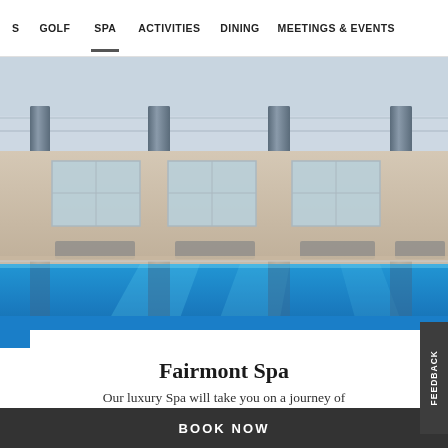S  GOLF  SPA  ACTIVITIES  DINING  MEETINGS & EVENTS
[Figure (photo): Indoor luxury spa pool with tall blue columns, lounge chairs, and large windows letting in natural light. The pool has bright blue water reflecting the columns.]
Fairmont Spa
Our luxury Spa will take you on a journey of
BOOK NOW